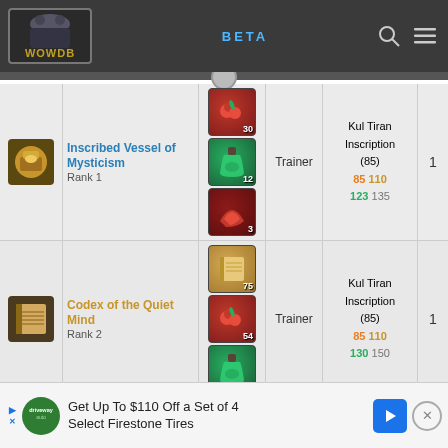WOWDB BETA
| Item | Item Name | Ingredients | Source | Skill | Count |
| --- | --- | --- | --- | --- | --- |
| [icon] | Inscribed Vessel of Mysticism Rank 1 | 30 / 12 / 3 | Trainer | Kul Tiran Inscription (85) 85 110 123 135 | 1 |
| [icon] | Codex of the Quiet Mind Rank 2 | 75 / 54 / 24 | Trainer | Kul Tiran Inscription (85) 85 110 130 150 | 1 |
| [icon] | Darkmoon Card of War Rank 1 | 1 / 12 / ... | Trainer | Kul Tiran Inscription (85) 85 110 ... | 1 |
Get Up To $110 Off a Set of 4 Select Firestone Tires